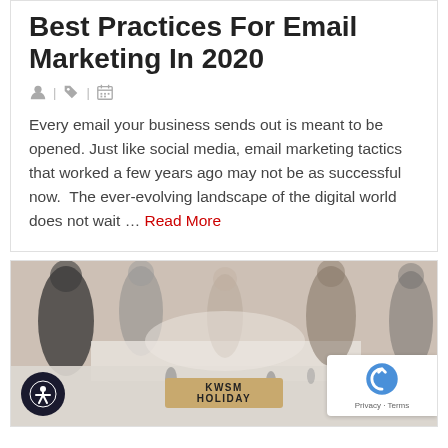Best Practices For Email Marketing In 2020
Every email your business sends out is meant to be opened. Just like social media, email marketing tactics that worked a few years ago may not be as successful now.  The ever-evolving landscape of the digital world does not wait … Read More
[Figure (photo): People sitting around a table at what appears to be a holiday event, with a KWSM HOLIDAY sign visible on the table]